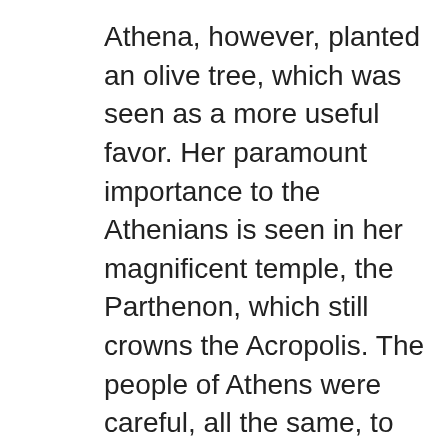Athena, however, planted an olive tree, which was seen as a more useful favor. Her paramount importance to the Athenians is seen in her magnificent temple, the Parthenon, which still crowns the Acropolis. The people of Athens were careful, all the same, to honor Poseidon as well (as soon as his anger calmed down and he withdrew the flood of seawater with which he ravaged the land after his loss in the contest with Athena).
Poseidon was the father of the hero Theseus, although the mortal Aegeus also claimed this distinction. Theseus was